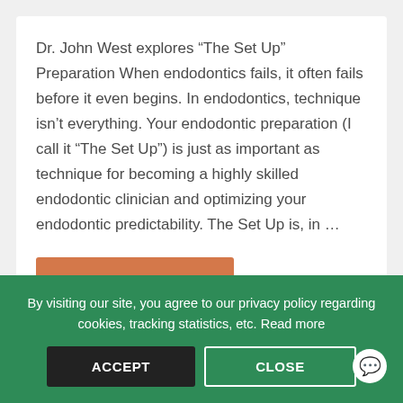Dr. John West explores “The Set Up” Preparation When endodontics fails, it often fails before it even begins. In endodontics, technique isn’t everything. Your endodontic preparation (I call it “The Set Up”) is just as important as technique for becoming a highly skilled endodontic clinician and optimizing your endodontic predictability. The Set Up is, in …
READ ARTICLE
By visiting our site, you agree to our privacy policy regarding cookies, tracking statistics, etc. Read more
ACCEPT
CLOSE